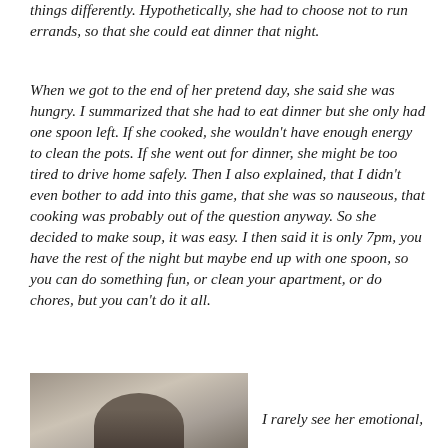things differently. Hypothetically, she had to choose not to run errands, so that she could eat dinner that night.
When we got to the end of her pretend day, she said she was hungry. I summarized that she had to eat dinner but she only had one spoon left. If she cooked, she wouldn't have enough energy to clean the pots. If she went out for dinner, she might be too tired to drive home safely. Then I also explained, that I didn't even bother to add into this game, that she was so nauseous, that cooking was probably out of the question anyway. So she decided to make soup, it was easy. I then said it is only 7pm, you have the rest of the night but maybe end up with one spoon, so you can do something fun, or clean your apartment, or do chores, but you can't do it all.
[Figure (photo): A partial photo of a person, showing head/upper body, visible at the bottom left of the page.]
I rarely see her emotional,